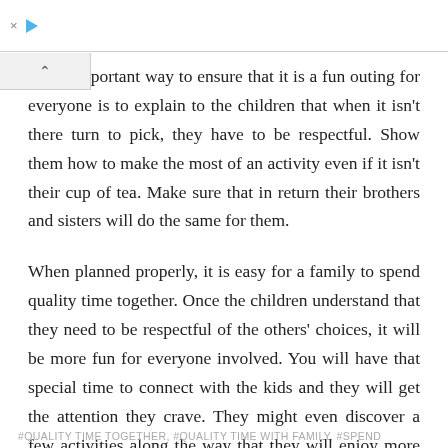× ▷
ost important way to ensure that it is a fun outing for everyone is to explain to the children that when it isn't there turn to pick, they have to be respectful. Show them how to make the most of an activity even if it isn't their cup of tea. Make sure that in return their brothers and sisters will do the same for them.
When planned properly, it is easy for a family to spend quality time together. Once the children understand that they need to be respectful of the others' choices, it will be more fun for everyone involved. You will have that special time to connect with the kids and they will get the attention they crave. They might even discover a few activities along the way that they will enjoy more than they expected to.
#QUALITY TIME TOGETHER, #QUALITY TIME WITH FAMILY, #SPEND